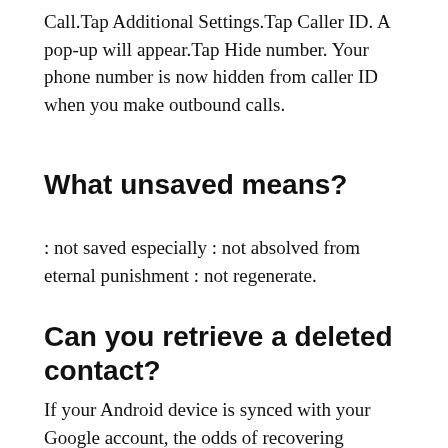Call.Tap Additional Settings.Tap Caller ID. A pop-up will appear.Tap Hide number. Your phone number is now hidden from caller ID when you make outbound calls.
What unsaved means?
: not saved especially : not absolved from eternal punishment : not regenerate.
Can you retrieve a deleted contact?
If your Android device is synced with your Google account, the odds of recovering missing contacts are definitively in your favor. Once you see the